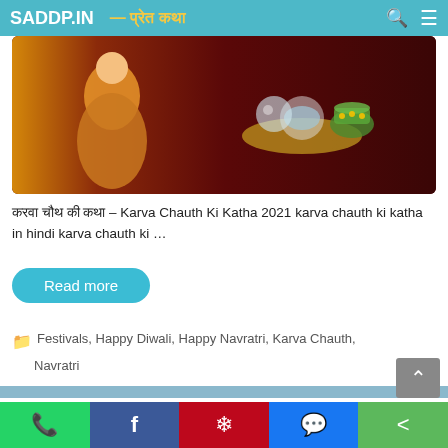SADDP.IN — प्रेत कथा
[Figure (photo): Karva Chauth festival image with a woman in traditional dress and a puja thali with a pot]
करवा चौथ की कथा – Karva Chauth Ki Katha 2021 karva chauth ki katha in hindi karva chauth ki …
Read more
Festivals, Happy Diwali, Happy Navratri, Karva Chauth, Navratri
Best 10 lines diwali essay in hindi
22/10/2021